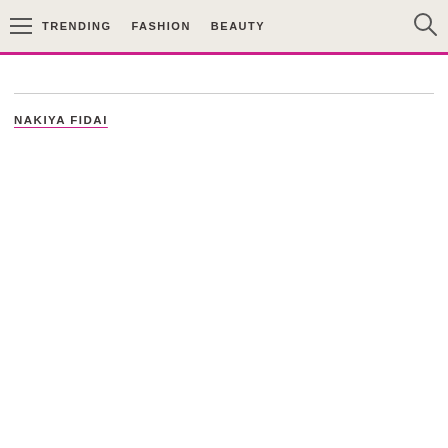TRENDING   FASHION   BEAUTY
NAKIYA FIDAI